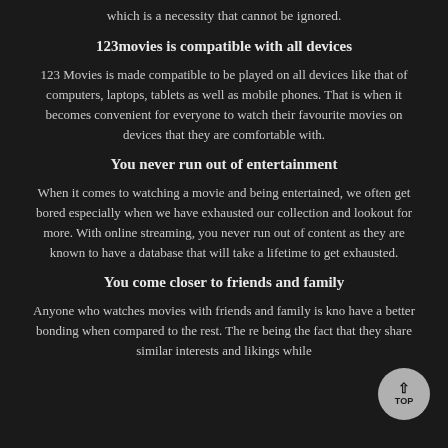which is a necessity that cannot be ignored.
123movies is compatible with all devices
123 Movies is made compatible to be played on all devices like that of computers, laptops, tablets as well as mobile phones. That is when it becomes convenient for everyone to watch their favourite movies on devices that they are comfortable with.
You never run out of entertainment
When it comes to watching a movie and being entertained, we often get bored especially when we have exhausted our collection and lookout for more. With online streaming, you never run out of content as they are known to have a database that will take a lifetime to get exhausted.
You come closer to friends and family
Anyone who watches movies with friends and family is kno have a better bonding when compared to the rest. The re being the fact that they share similar interests and likings while